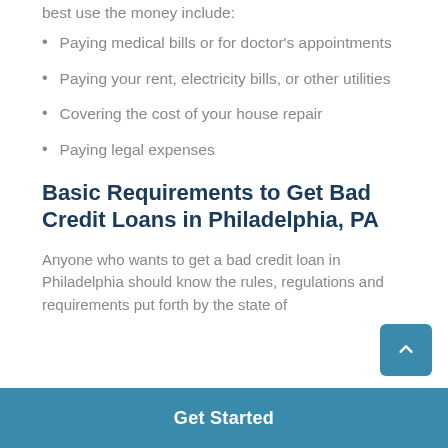best use the money include:
Paying medical bills or for doctor's appointments
Paying your rent, electricity bills, or other utilities
Covering the cost of your house repair
Paying legal expenses
Basic Requirements to Get Bad Credit Loans in Philadelphia, PA
Anyone who wants to get a bad credit loan in Philadelphia should know the rules, regulations and requirements put forth by the state of
Get Started